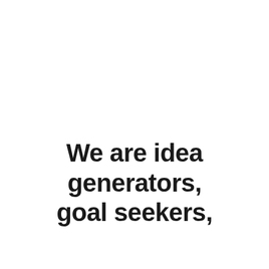We are idea generators, goal seekers,